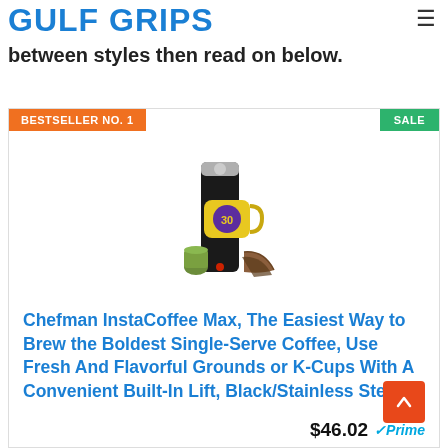GOLF GRIPS
between styles then read on below.
[Figure (photo): Product listing card showing a Chefman InstaCoffee Max single-serve coffee maker with a yellow mug and coffee filter accessories. Orange 'BESTSELLER NO. 1' badge on top left, green 'SALE' badge on top right.]
Chefman InstaCoffee Max, The Easiest Way to Brew the Boldest Single-Serve Coffee, Use Fresh And Flavorful Grounds or K-Cups With A Convenient Built-In Lift, Black/Stainless Steel
$46.02 Prime